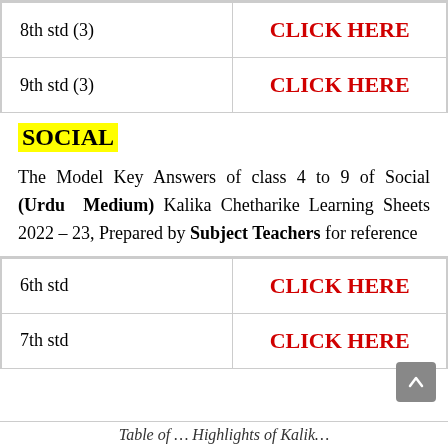|  |  |
| --- | --- |
| 8th std (3) | CLICK HERE |
| 9th std (3) | CLICK HERE |
SOCIAL
The Model Key Answers of class 4 to 9 of Social (Urdu Medium) Kalika Chetharike Learning Sheets 2022 – 23, Prepared by Subject Teachers for reference
|  |  |
| --- | --- |
| 6th std | CLICK HERE |
| 7th std | CLICK HERE |
Table of …  Highlights of Kalik…